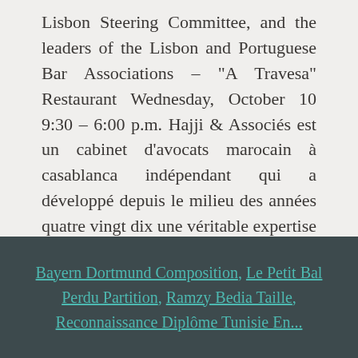Lisbon Steering Committee, and the leaders of the Lisbon and Portuguese Bar Associations – "A Travesa" Restaurant Wednesday, October 10 9:30 – 6:00 p.m. Hajji & Associés est un cabinet d'avocats marocain à casablanca indépendant qui a développé depuis le milieu des années quatre vingt dix une véritable expertise dans le ... Mehdi Bennani. Ses bureaux se trouvent en Ile de France, département Paris, ville de Paris 75116, au ( Latitude: 48.8652210, Longitude: 2.2981879 )
Bayern Dortmund Composition, Le Petit Bal Perdu Partition, Ramzy Bedia Taille, Reconnaissance Diplôme Tunisie En...